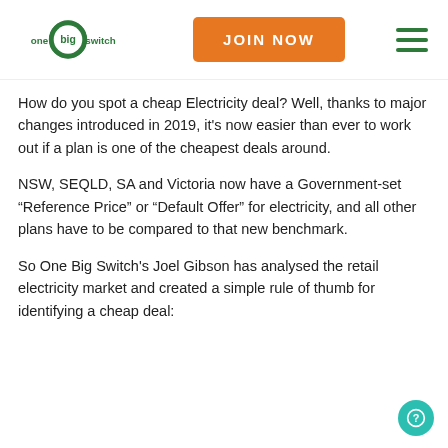One Big Switch | JOIN NOW
How do you spot a cheap Electricity deal? Well, thanks to major changes introduced in 2019, it's now easier than ever to work out if a plan is one of the cheapest deals around.
NSW, SEQLD, SA and Victoria now have a Government-set “Reference Price” or “Default Offer” for electricity, and all other plans have to be compared to that new benchmark.
So One Big Switch's Joel Gibson has analysed the retail electricity market and created a simple rule of thumb for identifying a cheap deal: